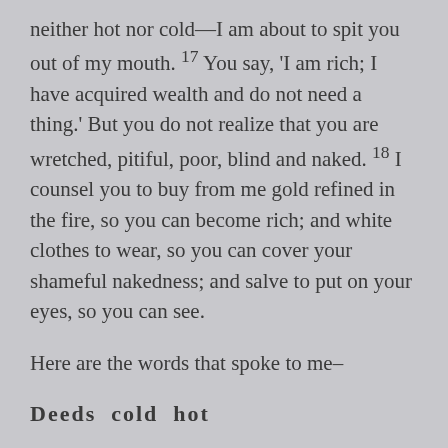neither hot nor cold—I am about to spit you out of my mouth. 17 You say, 'I am rich; I have acquired wealth and do not need a thing.' But you do not realize that you are wretched, pitiful, poor, blind and naked. 18 I counsel you to buy from me gold refined in the fire, so you can become rich; and white clothes to wear, so you can cover your shameful nakedness; and salve to put on your eyes, so you can see.
Here are the words that spoke to me–
Deeds  cold  hot
either.